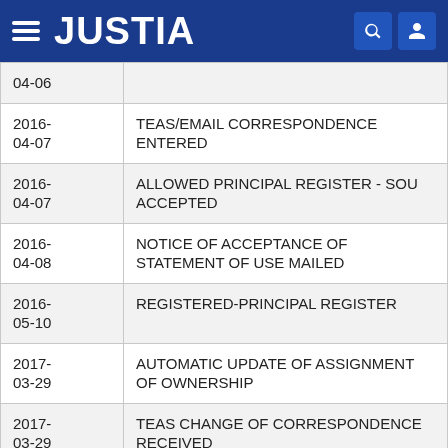JUSTIA
| Date | Event |
| --- | --- |
| 04-06 |  |
| 2016-04-07 | TEAS/EMAIL CORRESPONDENCE ENTERED |
| 2016-04-07 | ALLOWED PRINCIPAL REGISTER - SOU ACCEPTED |
| 2016-04-08 | NOTICE OF ACCEPTANCE OF STATEMENT OF USE MAILED |
| 2016-05-10 | REGISTERED-PRINCIPAL REGISTER |
| 2017-03-29 | AUTOMATIC UPDATE OF ASSIGNMENT OF OWNERSHIP |
| 2017-03-29 | TEAS CHANGE OF CORRESPONDENCE RECEIVED |
| 2021-05-10 | COURTESY REMINDER - SEC. 8 (6-YR) E-MAILED |